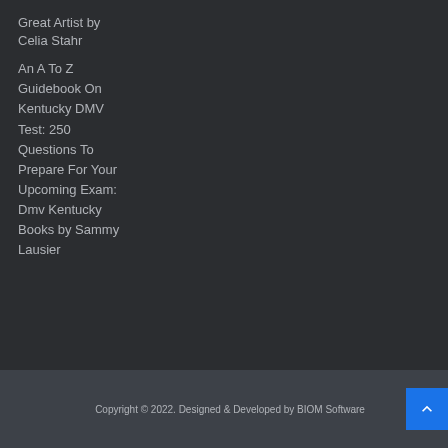Great Artist by Celia Stahr
An A To Z Guidebook On Kentucky DMV Test: 250 Questions To Prepare For Your Upcoming Exam: Dmv Kentucky Books by Sammy Lausier
Copyright © 2022. Designed & Developed by BIOM Software